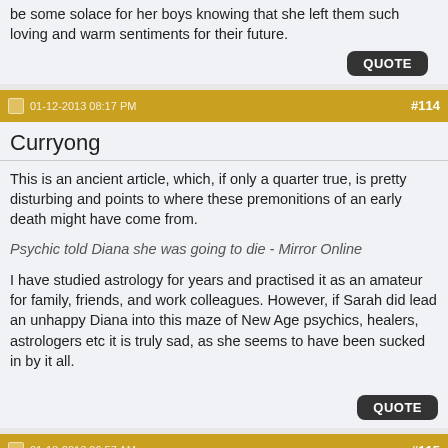be some solace for her boys knowing that she left them such loving and warm sentiments for their future.
QUOTE
01-12-2013 08:17 PM  #114
Curryong
This is an ancient article, which, if only a quarter true, is pretty disturbing and points to where these premonitions of an early death might have come from.
Psychic told Diana she was going to die - Mirror Online
I have studied astrology for years and practised it as an amateur for family, friends, and work colleagues. However, if Sarah did lead an unhappy Diana into this maze of New Age psychics, healers, astrologers etc it is truly sad, as she seems to have been sucked in by it all.
QUOTE
01-18-2013 06:57 AM  #115
Osipi